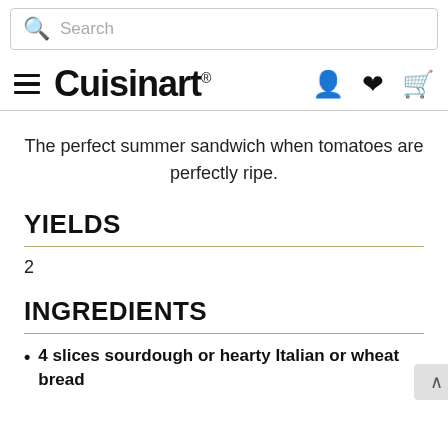Search
Cuisinart
The perfect summer sandwich when tomatoes are perfectly ripe.
YIELDS
2
INGREDIENTS
4 slices sourdough or hearty Italian or wheat bread